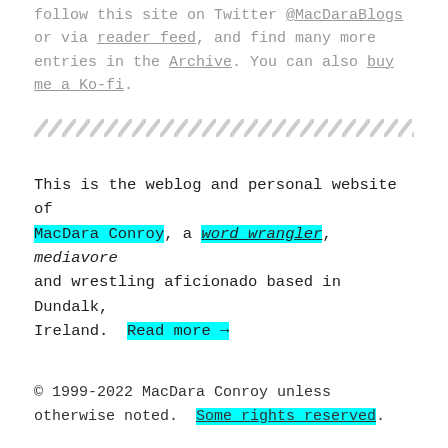follow this site on Twitter @MacDaraBlogs or via reader feed, and find many more entries in the Archive. You can also buy me a Ko-fi.
[Figure (other): Diagonal stripe divider pattern]
This is the weblog and personal website of MacDara Conroy, a word wrangler, mediavore and wrestling aficionado based in Dundalk, Ireland. Read more →
© 1999-2022 MacDara Conroy unless otherwise noted. Some rights reserved.